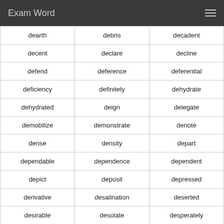Exam Word
| dearth | debris | decadent |
| decent | declare | decline |
| defend | deference | deferential |
| deficiency | definitely | dehydrate |
| dehydrated | deign | delegate |
| demobilize | demonstrate | denote |
| dense | density | depart |
| dependable | dependence | dependent |
| depict | deposit | depressed |
| derivative | desalination | deserted |
| desirable | desolate | desperately |
| despoiler | destination | deterrent |